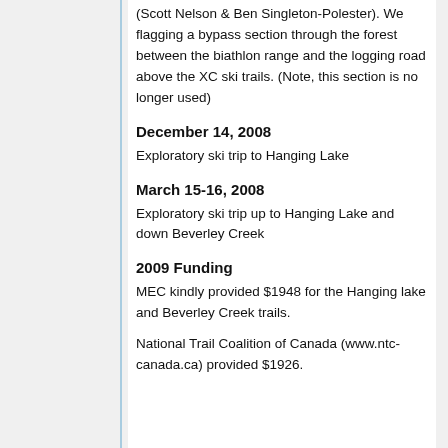(Scott Nelson & Ben Singleton-Polester). We flagging a bypass section through the forest between the biathlon range and the logging road above the XC ski trails. (Note, this section is no longer used)
December 14, 2008
Exploratory ski trip to Hanging Lake
March 15-16, 2008
Exploratory ski trip up to Hanging Lake and down Beverley Creek
2009 Funding
MEC kindly provided $1948 for the Hanging lake and Beverley Creek trails.
National Trail Coalition of Canada (www.ntc-canada.ca) provided $1926.